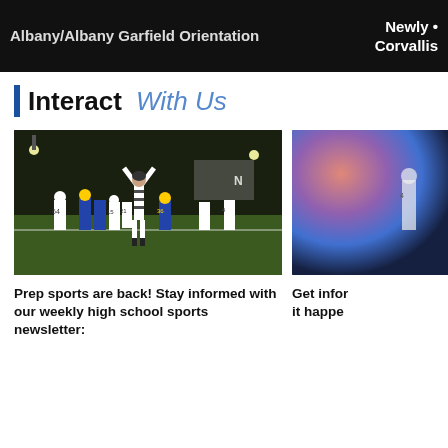Interact With Us — Corvallis
Interact With Us
[Figure (photo): Night football game photo showing a referee with arms raised, players in blue/gold and white uniforms on a lit field]
Prep sports are back! Stay informed with our weekly high school sports newsletter:
[Figure (photo): Partial photo with blurred colorful background, partially cut off on right side]
Get infor... it happe...